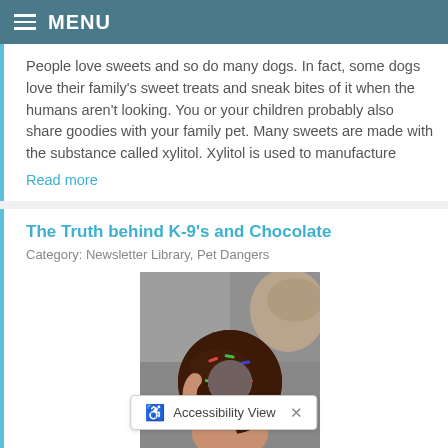MENU
People love sweets and so do many dogs. In fact, some dogs love their family's sweet treats and sneak bites of it when the humans aren't looking. You or your children probably also share goodies with your family pet. Many sweets are made with the substance called xylitol. Xylitol is used to manufacture
Read more
The Truth behind K-9's and Chocolate
Category: Newsletter Library, Pet Dangers
[Figure (photo): A hand holding a chocolate frosted donut with colorful sprinkles, with a light-colored dog visible in the background on pavement.]
We have all heard people say things such as "Don't give your dog chocolate, it... small